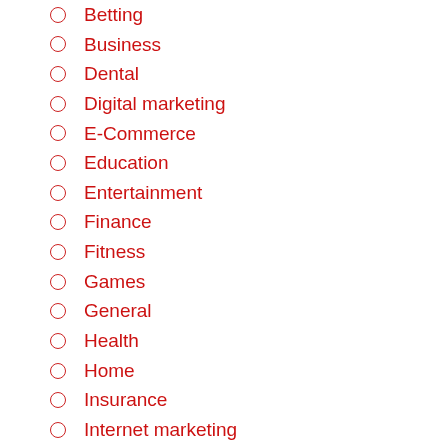Betting
Business
Dental
Digital marketing
E-Commerce
Education
Entertainment
Finance
Fitness
Games
General
Health
Home
Insurance
Internet marketing
Law
News
Pet
Pets
Real estate